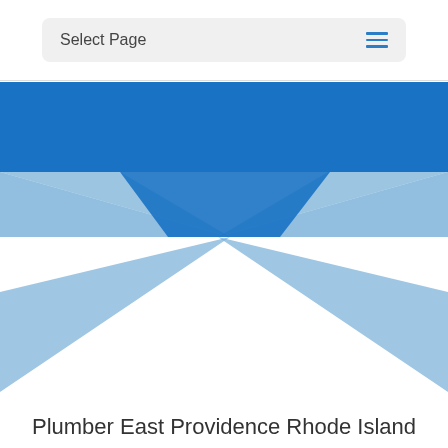Select Page
[Figure (illustration): Abstract blue bowtie/X-shaped graphic made of two overlapping triangular shapes in blue and light blue on a white background]
Plumber East Providence Rhode Island